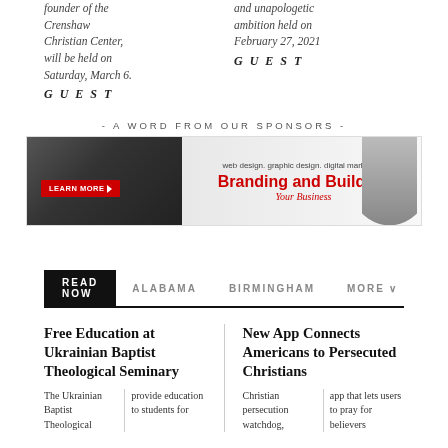founder of the Crenshaw Christian Center, will be held on Saturday, March 6.
GUEST
and unapologetic ambition held on February 27, 2021
GUEST
- A WORD FROM OUR SPONSORS -
[Figure (other): Advertisement banner: web design. graphic design. digital marketing. Branding and Building Your Business. Learn More button on left.]
READ NOW   ALABAMA   BIRMINGHAM   MORE
Free Education at Ukrainian Baptist Theological Seminary
The Ukrainian Baptist Theological
provide education to students for
New App Connects Americans to Persecuted Christians
Christian persecution watchdog,
app that lets users to pray for believers